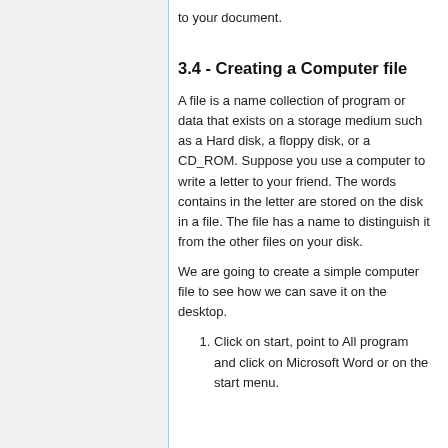to your document.
3.4 - Creating a Computer file
A file is a name collection of program or data that exists on a storage medium such as a Hard disk, a floppy disk, or a CD_ROM. Suppose you use a computer to write a letter to your friend. The words contains in the letter are stored on the disk in a file. The file has a name to distinguish it from the other files on your disk.
We are going to create a simple computer file to see how we can save it on the desktop.
Click on start, point to All program and click on Microsoft Word or on the start menu.